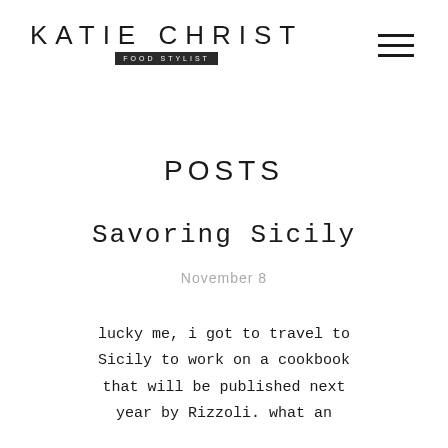KATIE CHRIST FOOD STYLIST
POSTS
Savoring Sicily
November 8
lucky me, i got to travel to Sicily to work on a cookbook that will be published next year by Rizzoli. what an